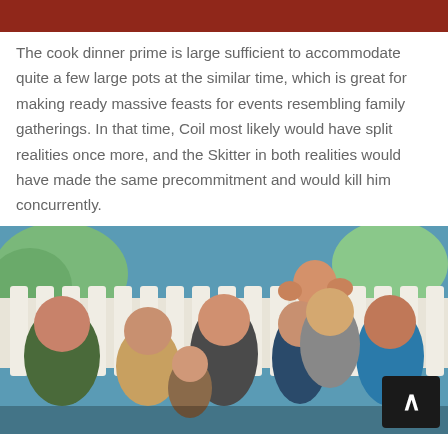[Figure (photo): Top portion of a photo showing red background, partially cropped at top of page]
The cook dinner prime is large sufficient to accommodate quite a few large pots at the similar time, which is great for making ready massive feasts for events resembling family gatherings. In that time, Coil most likely would have split realities once more, and the Skitter in both realities would have made the same precommitment and would kill him concurrently.
[Figure (photo): Photo of a group of people (TV show cast) posing outdoors in front of a white picket fence with trees and blue sky in the background. A scroll-to-top button is overlaid in the bottom right corner.]